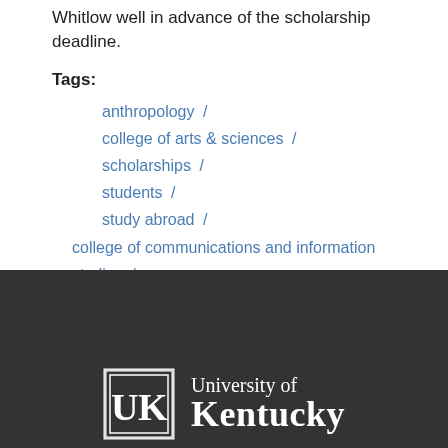Whitlow well in advance of the scholarship deadline.
Tags:
anthropology /
college of arts & sciences /
scholarships /
students /
study abroad /
college of communications and information studies /
matthew wells
[Figure (logo): University of Kentucky logo with UK block letter emblem and text 'University of Kentucky' in white on dark background]